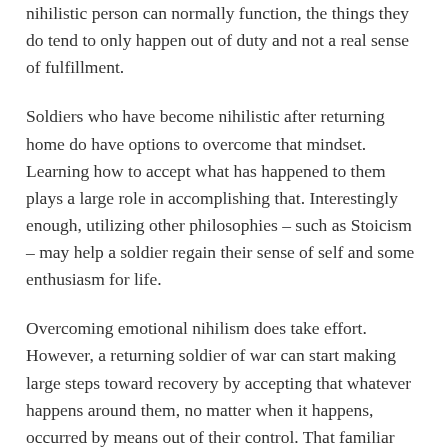nihilistic person can normally function, the things they do tend to only happen out of duty and not a real sense of fulfillment.
Soldiers who have become nihilistic after returning home do have options to overcome that mindset. Learning how to accept what has happened to them plays a large role in accomplishing that. Interestingly enough, utilizing other philosophies – such as Stoicism – may help a soldier regain their sense of self and some enthusiasm for life.
Overcoming emotional nihilism does take effort. However, a returning soldier of war can start making large steps toward recovery by accepting that whatever happens around them, no matter when it happens, occurred by means out of their control. That familiar theme, originating from Stoicism, can help a soldier accept their experiences and learn how to cope better after war.